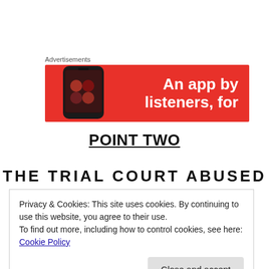[Figure (screenshot): Advertisement banner with red background showing a smartphone and text 'An app by listeners, for']
POINT TWO
THE  TRIAL  COURT  ABUSED
Privacy & Cookies: This site uses cookies. By continuing to use this website, you agree to their use.
To find out more, including how to control cookies, see here: Cookie Policy
Close and accept